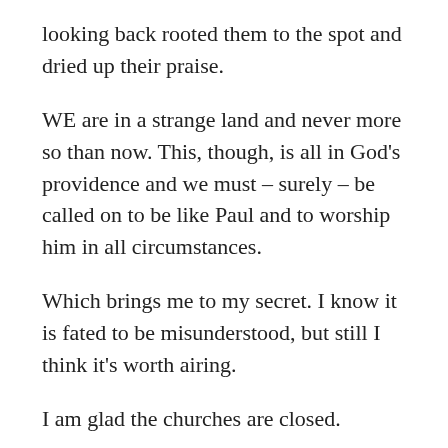looking back rooted them to the spot and dried up their praise.
WE are in a strange land and never more so than now. This, though, is all in God's providence and we must – surely – be called on to be like Paul and to worship him in all circumstances.
Which brings me to my secret. I know it is fated to be misunderstood, but still I think it's worth airing.
I am glad the churches are closed.
On a personal level, it's a relief. Life for me was so out of hand busy that, frankly, Sunday had ceased to be a day of rest. It was frequently one more day on which I had to